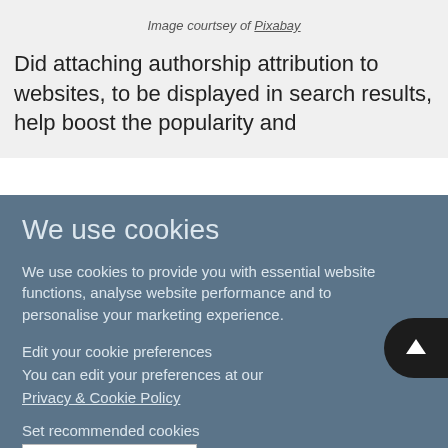Image courtsey of Pixabay
Did attaching authorship attribution to websites, to be displayed in search results, help boost the popularity and
We use cookies
We use cookies to provide you with essential website functions, analyse website performance and to personalise your marketing experience.
Edit your cookie preferences
You can edit your preferences at our
Privacy & Cookie Policy
Set recommended cookies
Accept & Continue